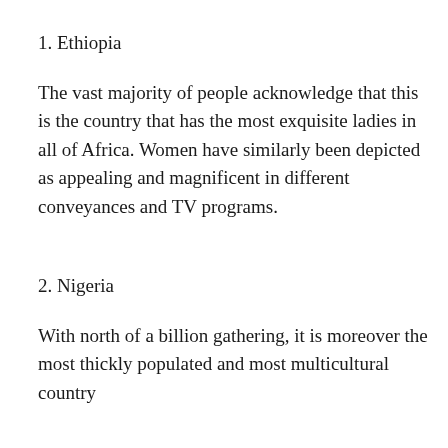1. Ethiopia
The vast majority of people acknowledge that this is the country that has the most exquisite ladies in all of Africa. Women have similarly been depicted as appealing and magnificent in different conveyances and TV programs.
2. Nigeria
With north of a billion gathering, it is moreover the most thickly populated and most multicultural country